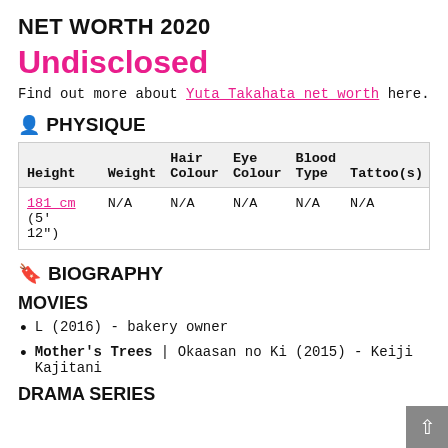NET WORTH 2020
Undisclosed
Find out more about Yuta Takahata net worth here.
PHYSIQUE
| Height | Weight | Hair Colour | Eye Colour | Blood Type | Tattoo(s) |
| --- | --- | --- | --- | --- | --- |
| 181 cm (5' 12") | N/A | N/A | N/A | N/A | N/A |
BIOGRAPHY
MOVIES
L (2016) - bakery owner
Mother's Trees | Okaasan no Ki (2015) - Keiji Kajitani
DRAMA SERIES